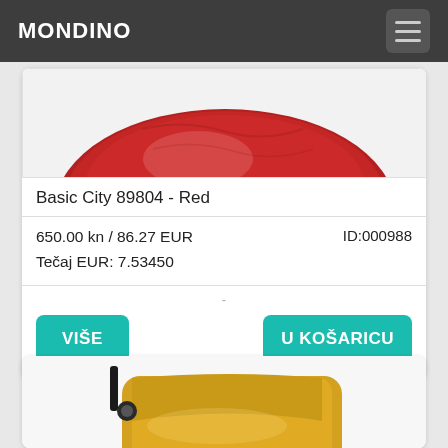MONDINO
[Figure (photo): Red leather handbag (Basic City 89804) on white background, partially cropped at top]
Basic City 89804 - Red
650.00 kn / 86.27 EUR
Tečaj EUR: 7.53450
ID:000988
VIŠE
U KOŠARICU
[Figure (photo): Yellow/mustard leather crossbody bag on white background, partially visible at bottom of page]